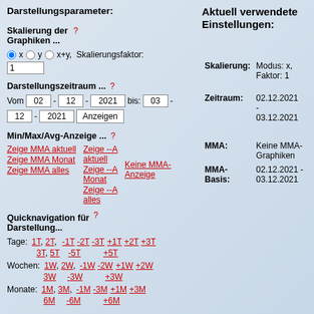Darstellungsparameter:
Skalierung der Graphiken ...
x  y  x+y,  Skalierungsfaktor:
1
Darstellungszeitraum ...
Vom 02 - 12 - 2021 bis: 03 - 12 - 2021 Anzeigen
Min/Max/Avg-Anzeige ...
Zeige MMA aktuell
Zeige MMA Monat
Zeige MMA alles
Zeige --A aktuell
Zeige --A Monat
Zeige --A alles
Keine MMA-Anzeige
Quicknavigation für Darstellung...
Tage: 1T, 2T, 3T, 5T   -1T -2T -3T -5T   +1T +2T +3T +5T
Wochen: 1W, 2W, 3W   -1W -2W -3W   +1W +2W +3W
Monate: 1M, 3M, 6M   -1M -3M -6M   +1M +3M +6M
Aktuell verwendete Einstellungen:
| Label | Value |
| --- | --- |
| Skalierung: | Modus: x, Faktor: 1 |
| Zeitraum: | 02.12.2021 - 03.12.2021 |
| MMA: | Keine MMA-Graphiken |
| MMA-Basis: | 02.12.2021 - 03.12.2021 |